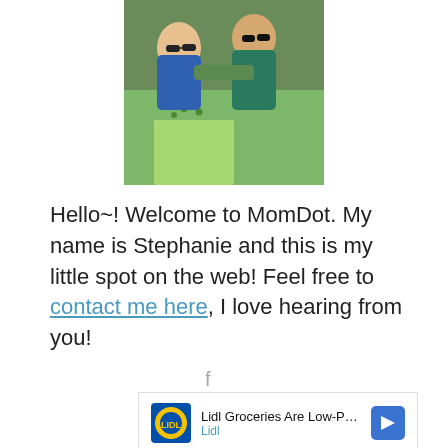[Figure (photo): Photo of children wearing sunglasses eating outdoors at a table with green cloth]
Hello~! Welcome to MomDot. My name is Stephanie and this is my little spot on the web! Feel free to contact me here, I love hearing from you!
[Figure (logo): Facebook icon in gray]
[Figure (other): Advertisement: Lidl Groceries Are Low-Priced, with Lidl logo and navigation arrow icon]